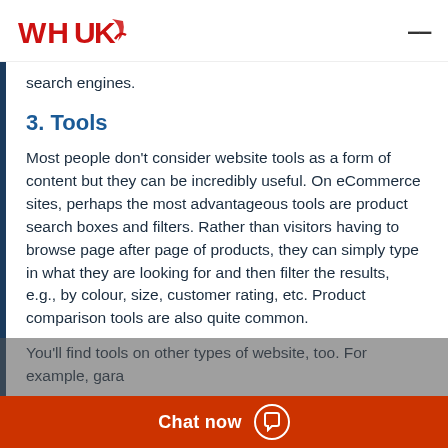WHUK
search engines.
3. Tools
Most people don't consider website tools as a form of content but they can be incredibly useful. On eCommerce sites, perhaps the most advantageous tools are product search boxes and filters. Rather than visitors having to browse page after page of products, they can simply type in what they are looking for and then filter the results, e.g., by colour, size, customer rating, etc. Product comparison tools are also quite common.
You'll find tools on other types of website, too. For example, gara...